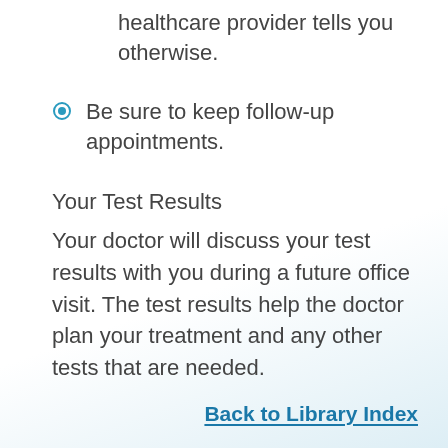healthcare provider tells you otherwise.
Be sure to keep follow-up appointments.
Your Test Results
Your doctor will discuss your test results with you during a future office visit. The test results help the doctor plan your treatment and any other tests that are needed.
Back to Library Index